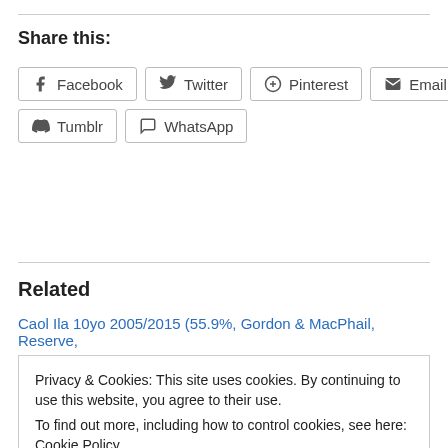Share this:
Facebook
Twitter
Pinterest
Email
Reddit
Tumblr
WhatsApp
Related
Caol Ila 10yo 2005/2015 (55.9%, Gordon & MacPhail, Reserve,
Privacy & Cookies: This site uses cookies. By continuing to use this website, you agree to their use.
To find out more, including how to control cookies, see here: Cookie Policy
Close and accept
Cask #1114, 283 bottles, JC/GF)